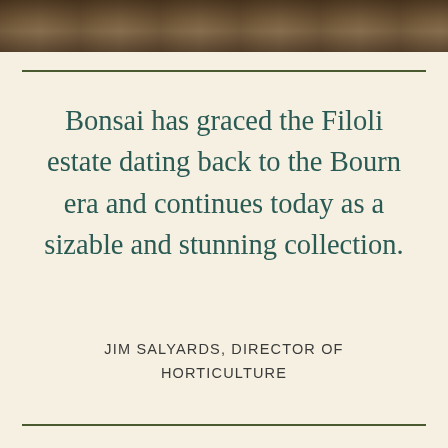[Figure (photo): Partial photo strip at top of page showing dark toned garden/estate scene]
Bonsai has graced the Filoli estate dating back to the Bourn era and continues today as a sizable and stunning collection.
JIM SALYARDS, DIRECTOR OF HORTICULTURE